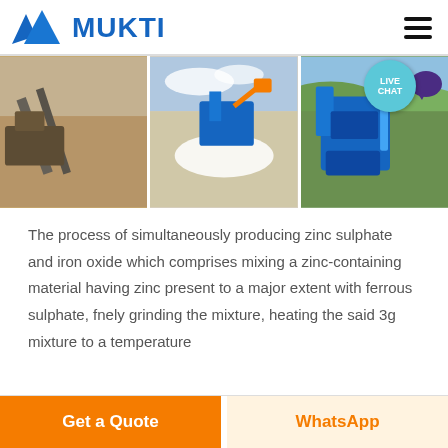[Figure (logo): MUKTI company logo with blue triangular mountain icon and bold blue MUKTI text]
[Figure (photo): Three side-by-side industrial mining/crushing plant photos showing conveyor belts, crushing equipment and machinery]
The process of simultaneously producing zinc sulphate and iron oxide which comprises mixing a zinc-containing material having zinc present to a major extent with ferrous sulphate, fnely grinding the mixture, heating the said 3g mixture to a temperature